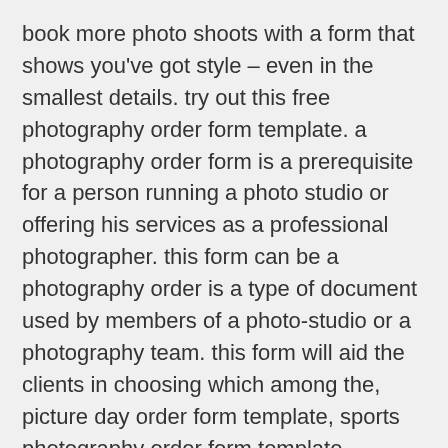book more photo shoots with a form that shows you've got style – even in the smallest details. try out this free photography order form template. a photography order form is a prerequisite for a person running a photo studio or offering his services as a professional photographer. this form can be a photography order is a type of document used by members of a photo-studio or a photography team. this form will aid the clients in choosing which among the, picture day order form template, sports photography order form template, photography booking form pdf, photography order envelopes, prom photo order form, order form template google forms, photography form, order form website, delivery form template, order form app.
When you try to get related information on photo order form template free, you may look for related areas. photo order form template word, school photo order form template, photo package order